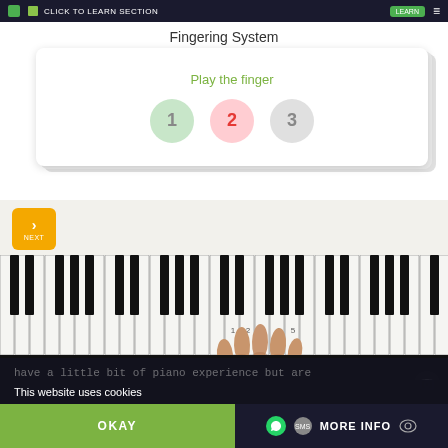[Figure (screenshot): App top navigation bar with icons and menu]
Fingering System
[Figure (screenshot): Card UI showing 'Play the finger' with three finger number circles: 1 (green), 2 (red/pink), 3 (gray)]
[Figure (photo): Piano keyboard with a hand placing fingers on keys, showing finger numbers 1-5. A NEXT button is visible in top left corner.]
The intermediate level is for pianists that already have a little bit of piano experience but are
This website uses cookies
OKAY
MORE INFO